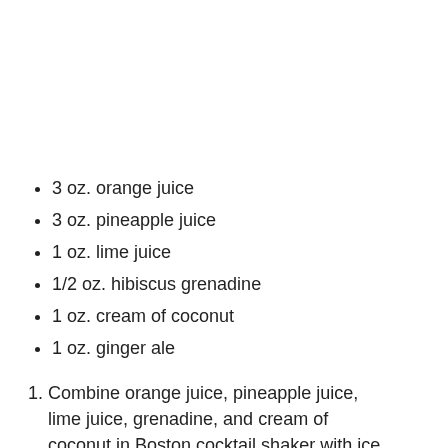3 oz. orange juice
3 oz. pineapple juice
1 oz. lime juice
1/2 oz. hibiscus grenadine
1 oz. cream of coconut
1 oz. ginger ale
Combine orange juice, pineapple juice, lime juice, grenadine, and cream of coconut in Boston cocktail shaker with ice.
Shake ingredients well and pour over fresh ice in at least a 12-ounce tall glass (or Porg mug!). Top with ginger ale until nice